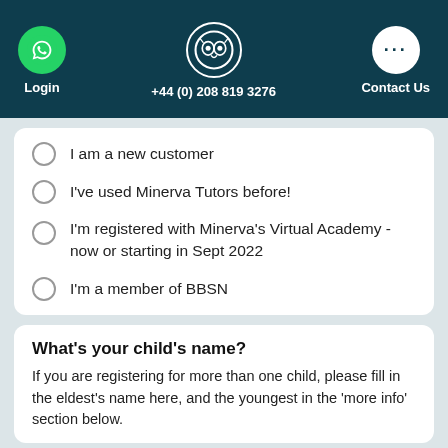Login  +44 (0) 208 819 3276  Contact Us
I am a new customer
I've used Minerva Tutors before!
I'm registered with Minerva's Virtual Academy - now or starting in Sept 2022
I'm a member of BBSN
What's your child's name?
If you are registering for more than one child, please fill in the eldest's name here, and the youngest in the 'more info' section below.